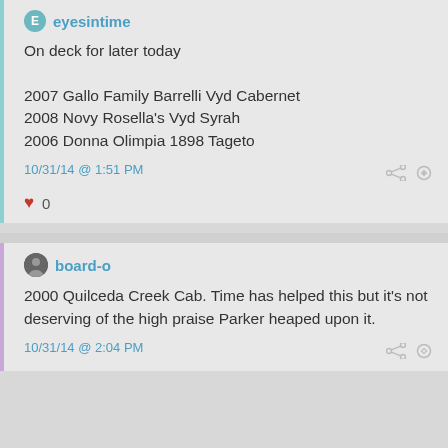eyesintime
On deck for later today

2007 Gallo Family Barrelli Vyd Cabernet
2008 Novy Rosella's Vyd Syrah
2006 Donna Olimpia 1898 Tageto
10/31/14 @ 1:51 PM
0
board-o
2000 Quilceda Creek Cab. Time has helped this but it's not deserving of the high praise Parker heaped upon it.
10/31/14 @ 2:04 PM